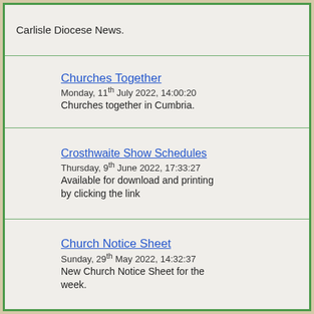Carlisle Diocese News.
Churches Together
Monday, 11th July 2022, 14:00:20
Churches together in Cumbria.
Crosthwaite Show Schedules
Thursday, 9th June 2022, 17:33:27
Available for download and printing by clicking the link
Church Notice Sheet
Sunday, 29th May 2022, 14:32:37
New Church Notice Sheet for the week.